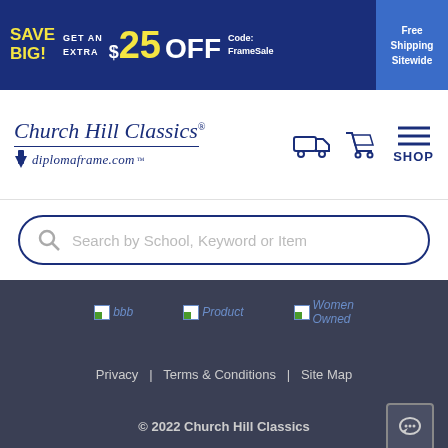[Figure (screenshot): Promotional banner: SAVE BIG! GET AN EXTRA $25 OFF Code: FrameSale, Free Shipping Sitewide]
[Figure (logo): Church Hill Classics / diplomaframe.com logo with navigation icons (truck, cart, menu/SHOP)]
[Figure (screenshot): Search bar with placeholder text: Search by School, Keyword or Item]
[Figure (screenshot): Footer with three badge images (bbb, Product, Women Owned), links: Privacy | Terms & Conditions | Site Map, © 2022 Church Hill Classics, and a chat button]